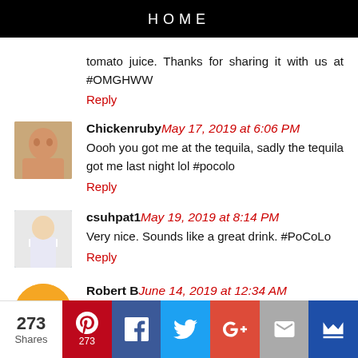HOME
tomato juice. Thanks for sharing it with us at #OMGHWW
Reply
Chickenruby May 17, 2019 at 6:06 PM
Oooh you got me at the tequila, sadly the tequila got me last night lol #pocolo
Reply
csuhpat1 May 19, 2019 at 8:14 PM
Very nice. Sounds like a great drink. #PoCoLo
Reply
Robert B June 14, 2019 at 12:34 AM
[Figure (infographic): Social share bar with Pinterest (273), Facebook, Twitter, Google+, Email, and crown icon buttons]